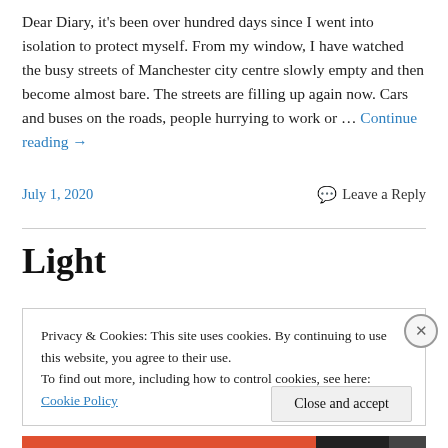Dear Diary, it's been over hundred days since I went into isolation to protect myself. From my window, I have watched the busy streets of Manchester city centre slowly empty and then become almost bare. The streets are filling up again now. Cars and buses on the roads, people hurrying to work or … Continue reading →
July 1, 2020
Leave a Reply
Light
Privacy & Cookies: This site uses cookies. By continuing to use this website, you agree to their use. To find out more, including how to control cookies, see here: Cookie Policy
Close and accept